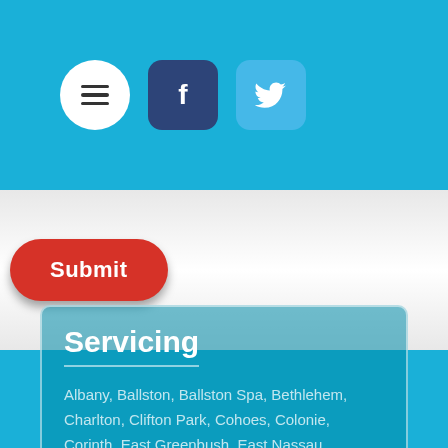[Figure (screenshot): Navigation bar with hamburger menu button (white circle), Facebook icon (dark blue rounded square), and Twitter bird icon (light blue rounded square) on a cyan/blue background.]
[Figure (screenshot): Red rounded Submit button on a light gray gradient background section.]
Servicing
Albany, Ballston, Ballston Spa, Bethlehem, Charlton, Clifton Park, Cohoes, Colonie, Corinth, East Greenbush, East Nassau, Edinburg, Galway, Glens Falls, Green Island, Guilderland, Halfmoon, Hoosick, Hoosick...